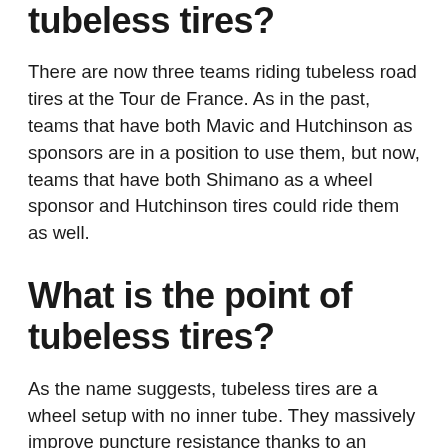tubeless tires?
There are now three teams riding tubeless road tires at the Tour de France. As in the past, teams that have both Mavic and Hutchinson as sponsors are in a position to use them, but now, teams that have both Shimano as a wheel sponsor and Hutchinson tires could ride them as well.
What is the point of tubeless tires?
As the name suggests, tubeless tires are a wheel setup with no inner tube. They massively improve puncture resistance thanks to an inventive solution that foregoes the inner tube for a latex sealant. Without an